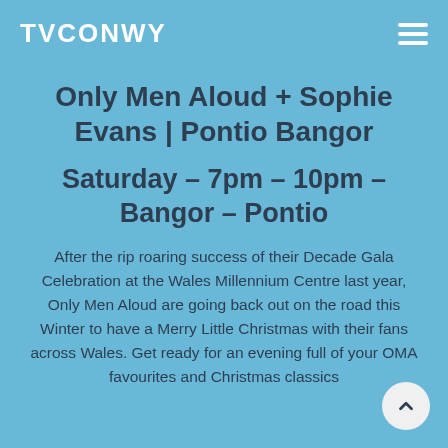TVCONWY
Only Men Aloud + Sophie Evans | Pontio Bangor
Saturday  – 7pm – 10pm – Bangor – Pontio
After the rip roaring success of their Decade Gala Celebration at the Wales Millennium Centre last year, Only Men Aloud are going back out on the road this Winter to have a Merry Little Christmas with their fans across Wales. Get ready for an evening full of your OMA favourites and Christmas classics